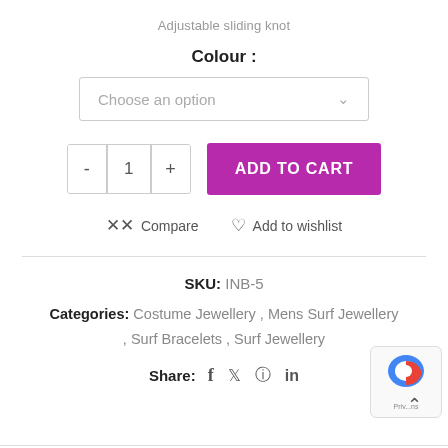Adjustable sliding knot
Colour :
Choose an option
- 1 +
ADD TO CART
Compare  Add to wishlist
SKU: INB-5
Categories: Costume Jewellery , Mens Surf Jewellery , Surf Bracelets , Surf Jewellery
Share: